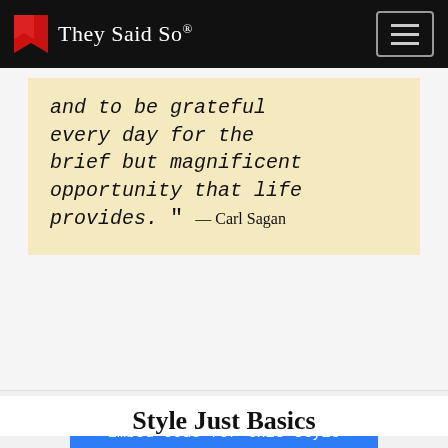They Said So®
and to be grateful every day for the brief but magnificent opportunity that life provides. " — Carl Sagan
Embed code for this style
Style Just Basics